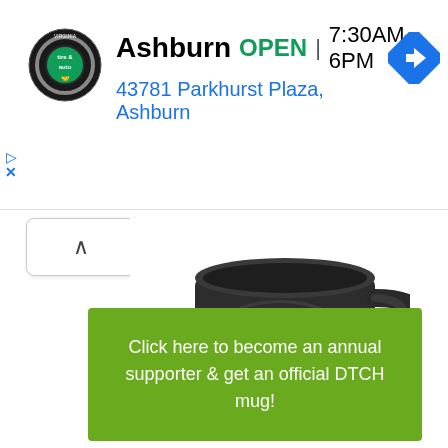[Figure (screenshot): Advertisement banner for Virginia Tire & Auto: Ashburn location, OPEN 7:30AM–6PM, address 43781 Parkhurst Plaza, Ashburn, with circular logo and blue navigation arrow icon]
[Figure (photo): Partial view of a dark/black ceramic coffee mug on a white background, showing the top portion and handle]
Click here to become an annual supporter & get an official DTCH mug!